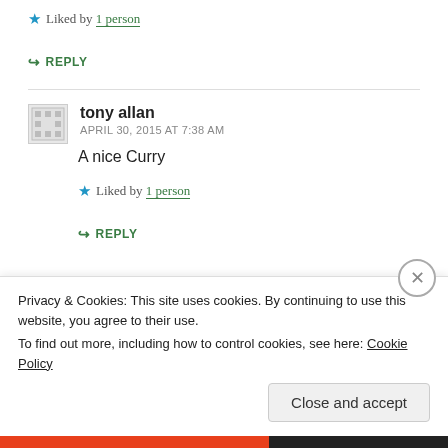Liked by 1 person
↳ REPLY
tony allan
APRIL 30, 2015 AT 7:38 AM
A nice Curry
Liked by 1 person
↳ REPLY
Privacy & Cookies: This site uses cookies. By continuing to use this website, you agree to their use.
To find out more, including how to control cookies, see here: Cookie Policy
Close and accept